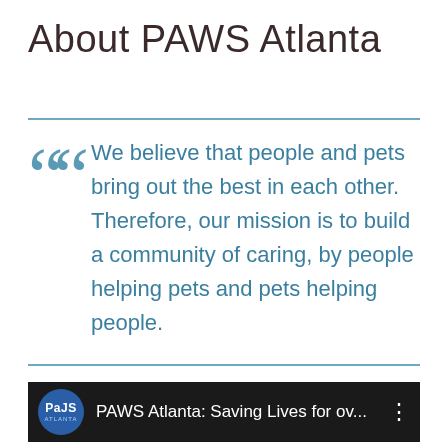About PAWS Atlanta
We believe that people and pets bring out the best in each other. Therefore, our mission is to build a community of caring, by people helping pets and pets helping people.
[Figure (screenshot): Video thumbnail showing PAWS Atlanta logo (circular blue badge with paws text) and title 'PAWS Atlanta: Saving Lives for ov...' on dark background with three-dot menu icon]